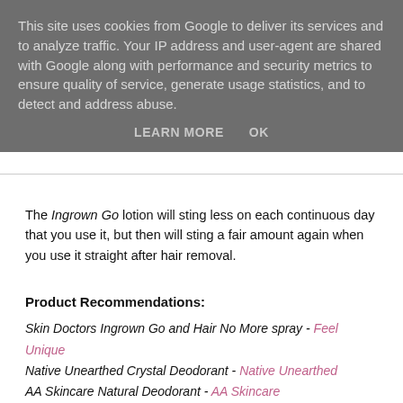This site uses cookies from Google to deliver its services and to analyze traffic. Your IP address and user-agent are shared with Google along with performance and security metrics to ensure quality of service, generate usage statistics, and to detect and address abuse.
LEARN MORE    OK
The Ingrown Go lotion will sting less on each continuous day that you use it, but then will sting a fair amount again when you use it straight after hair removal.
Product Recommendations:
Skin Doctors Ingrown Go and Hair No More spray - Feel Unique
Native Unearthed Crystal Deodorant - Native Unearthed
AA Skincare Natural Deodorant - AA Skincare
Jason 98% Aloe Vera Gel - Look Fantastic